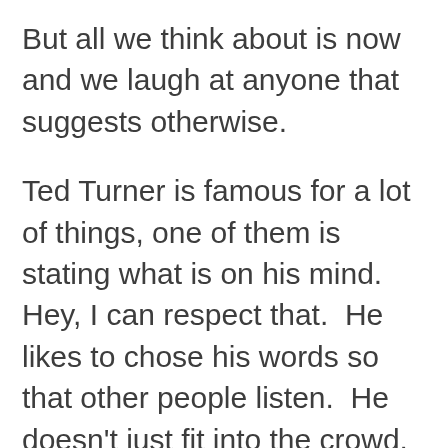But all we think about is now and we laugh at anyone that suggests otherwise.
Ted Turner is famous for a lot of things, one of them is stating what is on his mind.  Hey, I can respect that.  He likes to chose his words so that other people listen.  He doesn't just fit into the crowd.  I respect that also.  But I wish that